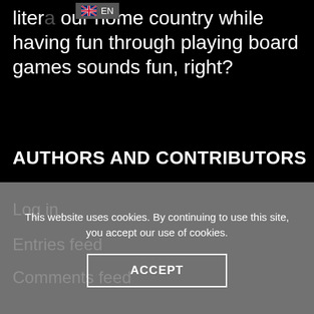litera... our home country while having fun through playing board games sounds fun, right?
AUTHORS AND CONTRIBUTORS
Log in
Entries feed
Comments feed
This website uses cookies. By continuing to use this site, you accept our use of cookies.
ACCEPT